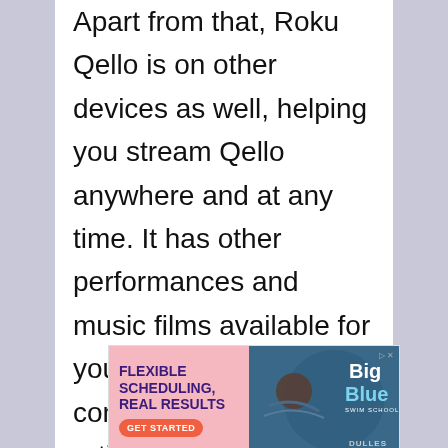Apart from that, Roku Qello is on other devices as well, helping you stream Qello anywhere and at any time. It has other performances and music films available for you to access. Enjoy concerts of your favorite artists, including Lady Gaga, Coldplay, Bob Marley, and Imagine Dragons on Qello.
[Figure (infographic): Advertisement for Big Blue Swim School - Dulles location. Pink background on left with text 'FLEXIBLE SCHEDULING, REAL RESULTS' in bold purple text and an orange 'GET STARTED' button. Right side shows a dark blue/teal background with a swimmer photo and Big Blue Swim School logo.]